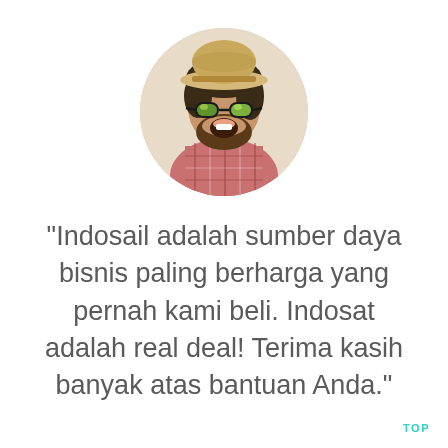[Figure (photo): Circular cropped photo of a cheerful bearded man wearing a straw hat and reflective sunglasses, laughing, wearing a plaid shirt.]
"Indosail adalah sumber daya bisnis paling berharga yang pernah kami beli. Indosat adalah real deal! Terima kasih banyak atas bantuan Anda."
TOP